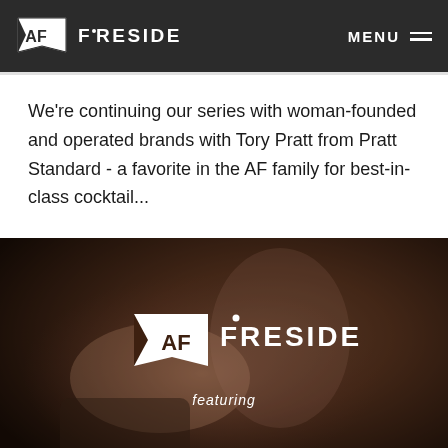AF FIRESIDE  MENU
We're continuing our series with woman-founded and operated brands with Tory Pratt from Pratt Standard - a favorite in the AF family for best-in-class cocktail...
[Figure (photo): Photo of people with AF Fireside logo overlay and text 'featuring' below the logo. The image shows hands and people in a dark, warm-toned setting. A large AF logo and FIRESIDE text is centered in the image with 'featuring' below it.]